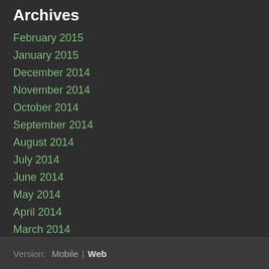Archives
February 2015
January 2015
December 2014
November 2014
October 2014
September 2014
August 2014
July 2014
June 2014
May 2014
April 2014
March 2014
February 2014
January 2014
December 2013
RSS Feed
Version:  Mobile | Web